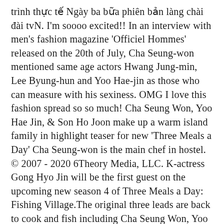trình thực tế Ngày ba bữa phiên bản làng chài đài tvN. I'm soooo excited!! In an interview with men's fashion magazine 'Officiel Hommes' released on the 20th of July, Cha Seung-won mentioned same age actors Hwang Jung-min, Lee Byung-hun and Yoo Hae-jin as those who can measure with his sexiness. OMG I love this fashion spread so so much! Cha Seung Won, Yoo Hae Jin, & Son Ho Joon make up a warm island family in highlight teaser for new 'Three Meals a Day' Cha Seung-won is the main chef in hostel. © 2007 - 2020 6Theory Media, LLC. K-actress Gong Hyo Jin will be the first guest on the upcoming new season 4 of Three Meals a Day: Fishing Village.The original three leads are back to cook and fish including Cha Seung Won, Yoo Hae Jin, and Son Ho Jun, and directing is still PD Na. On January 23, one industry insider revealed*, "Cha Seung Won and Yoo Hae Jin will appear in tvN's new program 'Europe Homestay', airing this March. Yoo Hae-jin is in charge of cleaning, receptionist, and hostel manager. He broke into acting with the 1997 television series "New York Stories" but it wasn't until the 2001 hit comedy film "Kick the … People Seung-Won Cha, Hae-Jin Yoo Đạo diễn Na Young Suk và Jang Eun Jung